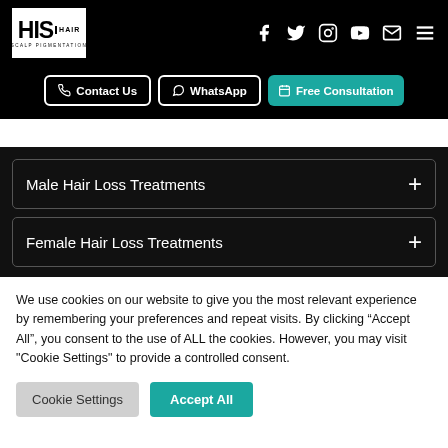[Figure (logo): HIS HAIR SCALP PIGMENTATION logo - white box with HIS.HAIR text and SCALP PIGMENTATION subtitle]
[Figure (infographic): Navigation icons: Facebook, Twitter, Instagram, YouTube, Email, Hamburger menu - white icons on black background]
Contact Us
WhatsApp
Free Consultation
Male Hair Loss Treatments
Female Hair Loss Treatments
We use cookies on our website to give you the most relevant experience by remembering your preferences and repeat visits. By clicking “Accept All”, you consent to the use of ALL the cookies. However, you may visit "Cookie Settings" to provide a controlled consent.
Cookie Settings
Accept All